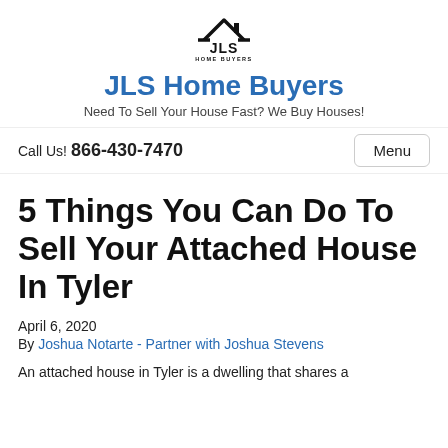[Figure (logo): JLS Home Buyers logo — a house silhouette with roof lines above the letters JLS and HOME BUYERS text below]
JLS Home Buyers
Need To Sell Your House Fast? We Buy Houses!
Call Us! 866-430-7470
Menu
5 Things You Can Do To Sell Your Attached House In Tyler
April 6, 2020
By Joshua Notarte - Partner with Joshua Stevens
An attached house in Tyler is a dwelling that shares a